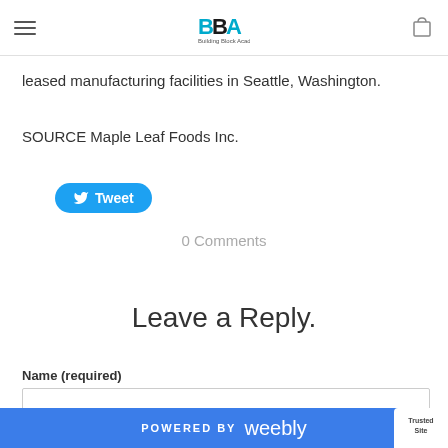BBA Building Block Academies navigation header
leased manufacturing facilities in Seattle, Washington.
SOURCE Maple Leaf Foods Inc.
[Figure (other): Twitter Tweet button in blue rounded rectangle]
0 Comments
Leave a Reply.
Name (required)
POWERED BY weebly